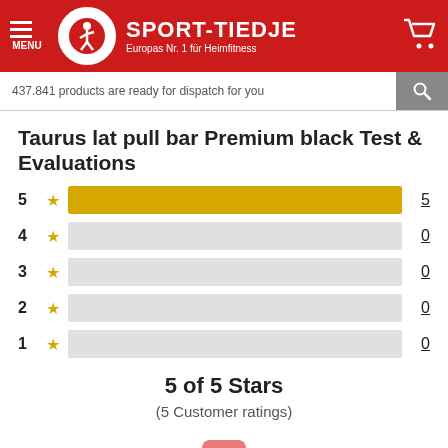[Figure (logo): Sport-Tiedje logo with red header, circular runner icon, brand name and tagline, menu icon and cart icon]
437.841 products are ready for dispatch for you
Taurus lat pull bar Premium black Test & Evaluations
[Figure (bar-chart): Star ratings distribution]
5 of 5 Stars
(5 Customer ratings)